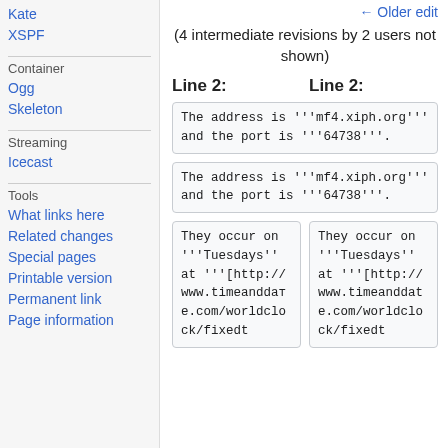Kate
XSPF
Container
Ogg
Skeleton
Streaming
Icecast
Tools
What links here
Related changes
Special pages
Printable version
Permanent link
Page information
← Older edit
(4 intermediate revisions by 2 users not shown)
Line 2:
Line 2:
The address is '''mf4.xiph.org''' and the port is '''64738'''.<br />
The address is '''mf4.xiph.org''' and the port is '''64738'''.<br />
They occur on '''Tuesdays'' at '''[http://www.timeanddate.com/worldclock/fixedt
They occur on '''Tuesdays'' at '''[http://www.timeanddate.com/worldclock/fixedt